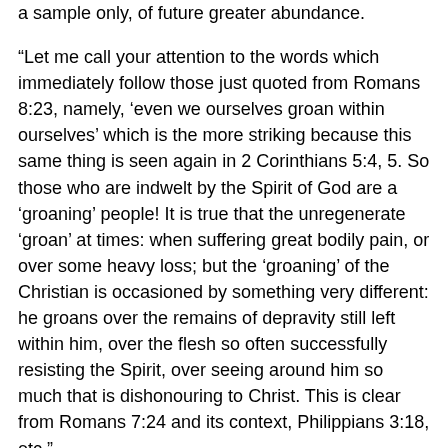a sample only, of future greater abundance.
“Let me call your attention to the words which immediately follow those just quoted from Romans 8:23, namely, ‘even we ourselves groan within ourselves’ which is the more striking because this same thing is seen again in 2 Corinthians 5:4, 5. So those who are indwelt by the Spirit of God are a ‘groaning’ people! It is true that the unregenerate ‘groan’ at times: when suffering great bodily pain, or over some heavy loss; but the ‘groaning’ of the Christian is occasioned by something very different: he groans over the remains of depravity still left within him, over the flesh so often successfully resisting the Spirit, over seeing around him so much that is dishonouring to Christ. This is clear from Romans 7:24 and its context, Philippians 3:18, etc.”
Brother Humble Heart: “But only a few days ago I mentioned some of these very Scriptures to one whom I regard as an eminent saint, and he told me that he had ‘got out of Romans 7 into Romans 8’ long ago.” Editor: “But as we have seen, the Christian in Romans 8 ‘groans’ (v. 23)!”